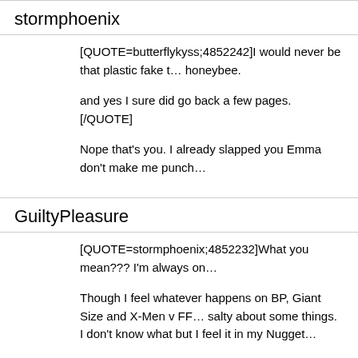stormphoenix
[QUOTE=butterflykyss;4852242]I would never be that plastic fake t… honeybee.

and yes I sure did go back a few pages.[/QUOTE]

Nope that’s you. I already slapped you Emma don’t make me punch…
GuiltyPleasure
[QUOTE=stormphoenix;4852232]What you mean??? I’m always on…

Though I feel whatever happens on BP, Giant Size and X-Men v FF… salty about some things. I don’t know what but I feel it in my Nugget…

You said that??? Ugh I hope your wrong.

I’m not your Boo. Your my Enemy. You are Emma and I’m Storm do…